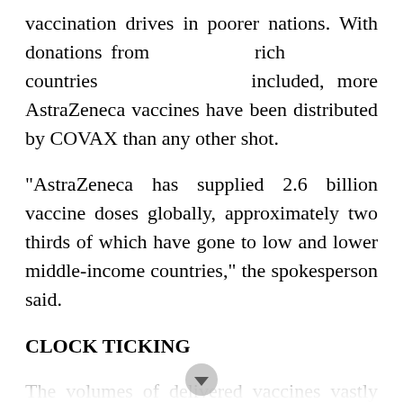vaccination drives in poorer nations. With donations from rich countries included, more AstraZeneca vaccines have been distributed by COVAX than any other shot.
"AstraZeneca has supplied 2.6 billion vaccine doses globally, approximately two thirds of which have gone to low and lower middle-income countries," the spokesperson said.
CLOCK TICKING
The volumes of delivered vaccines vastly outnumber wasted doses, but the losses have been substantial thanks in part to the time pressures. This has led to AstraZeneca shots being turned down even before being shipped.